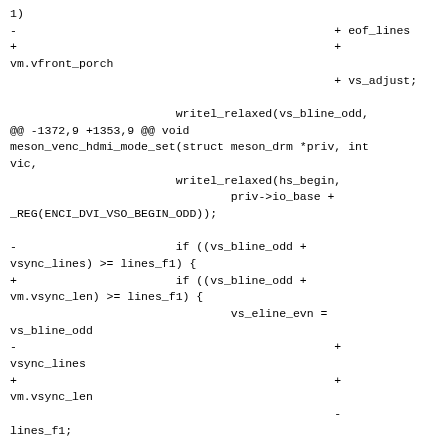1)
-                                              + eof_lines
+                                              +
vm.vfront_porch
                                               + vs_adjust;

                        writel_relaxed(vs_bline_odd,
@@ -1372,9 +1353,9 @@ void
meson_venc_hdmi_mode_set(struct meson_drm *priv, int vic,
                        writel_relaxed(hs_begin,
                                priv->io_base +
_REG(ENCI_DVI_VSO_BEGIN_ODD));

-                       if ((vs_bline_odd +
vsync_lines) >= lines_f1) {
+                       if ((vs_bline_odd +
vm.vsync_len) >= lines_f1) {
                                vs_eline_evn =
vs_bline_odd
-                                              +
vsync_lines
+                                              +
vm.vsync_len
                                               -
lines_f1;


writel_relaxed(vs_eline_evn, priv->io_base
@@ -1384,7 +1365,7 @@ void